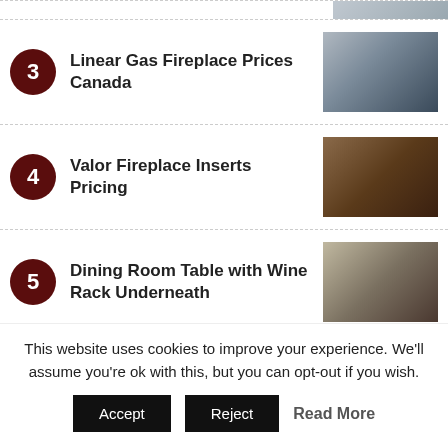3 Linear Gas Fireplace Prices Canada
4 Valor Fireplace Inserts Pricing
5 Dining Room Table with Wine Rack Underneath
Most Viewed Posts
1 Small Lake House Plans with Screened Porch
This website uses cookies to improve your experience. We'll assume you're ok with this, but you can opt-out if you wish.